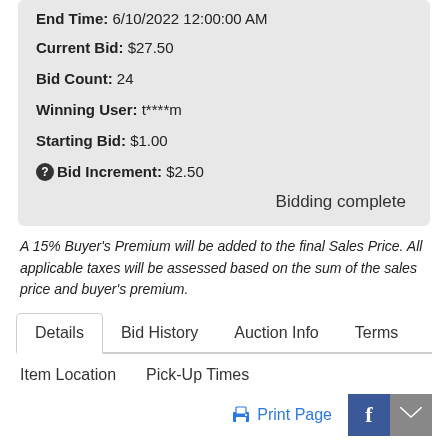End Time: 6/10/2022 12:00:00 AM
Current Bid: $27.50
Bid Count: 24
Winning User: t****m
Starting Bid: $1.00
Bid Increment: $2.50
Bidding complete
A 15% Buyer's Premium will be added to the final Sales Price. All applicable taxes will be assessed based on the sum of the sales price and buyer's premium.
Details
Bid History
Auction Info
Terms
Item Location
Pick-Up Times
Print Page